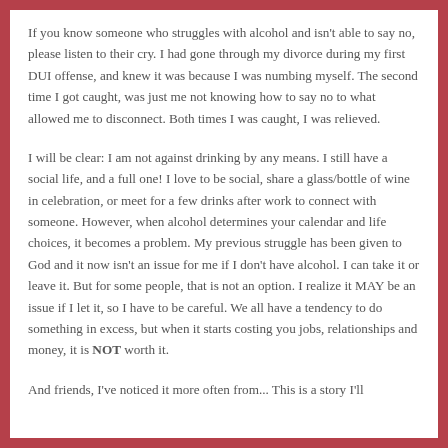If you know someone who struggles with alcohol and isn't able to say no, please listen to their cry.  I had gone through my divorce during my first DUI offense, and knew it was because I was numbing myself.  The second time I got caught, was just me not knowing how to say no to what allowed me to disconnect.  Both times I was caught, I was relieved.
I will be clear: I am not against drinking by any means.  I still have a social life, and a full one!  I love to be social, share a glass/bottle of wine in celebration, or meet for a few drinks after work to connect with someone. However, when alcohol determines your calendar and life choices, it becomes a problem.  My previous struggle has been given to God and it now isn't an issue for me if I don't have alcohol.  I can take it or leave it.  But for some people, that is not an option.  I realize it MAY be an issue if I let it, so I have to be careful. We all have a tendency to do something in excess, but when it starts costing you jobs, relationships and money, it is NOT worth it.
And friends, I've noticed it more often from... This is a story I'll...